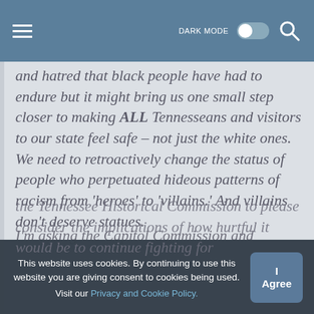DARK MODE [toggle] [search]
and hatred that black people have had to endure but it might bring us one small step closer to making ALL Tennesseans and visitors to our state feel safe – not just the white ones. We need to retroactively change the status of people who perpetuated hideous patterns of racism from 'heroes' to 'villains.' And villains don't deserve statues.
I'm asking the Capitol Commission and the Tennessee Historical Commission to please consider the implications of how hurtful it would be to continue fighting for
This website uses cookies. By continuing to use this website you are giving consent to cookies being used. Visit our Privacy and Cookie Policy.